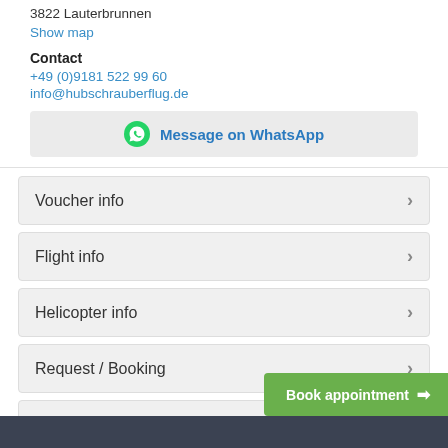3822 Lauterbrunnen
Show map
Contact
+49 (0)9181 522 99 60
info@hubschrauberflug.de
Message on WhatsApp
Voucher info
Flight info
Helicopter info
Request / Booking
Pictures & Movies
Book appointment →